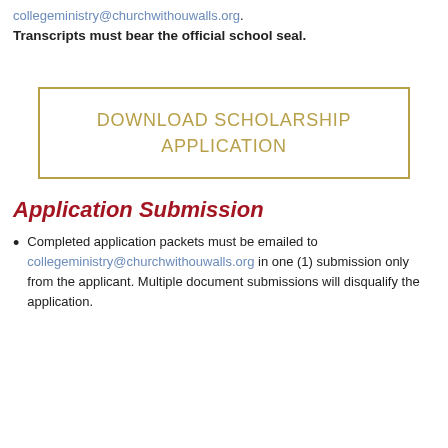collegeministry@churchwithouwalls.org. Transcripts must bear the official school seal.
DOWNLOAD SCHOLARSHIP APPLICATION
Application Submission
Completed application packets must be emailed to collegeministry@churchwithouwalls.org in one (1) submission only from the applicant. Multiple document submissions will disqualify the application.